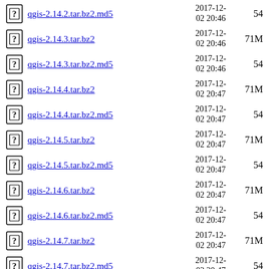qgis-2.14.2.tar.bz2.md5  2017-12-02 20:46  54
qgis-2.14.3.tar.bz2  2017-12-02 20:46  71M
qgis-2.14.3.tar.bz2.md5  2017-12-02 20:46  54
qgis-2.14.4.tar.bz2  2017-12-02 20:47  71M
qgis-2.14.4.tar.bz2.md5  2017-12-02 20:47  54
qgis-2.14.5.tar.bz2  2017-12-02 20:47  71M
qgis-2.14.5.tar.bz2.md5  2017-12-02 20:47  54
qgis-2.14.6.tar.bz2  2017-12-02 20:47  71M
qgis-2.14.6.tar.bz2.md5  2017-12-02 20:47  54
qgis-2.14.7.tar.bz2  2017-12-02 20:47  71M
qgis-2.14.7.tar.bz2.md5  2017-12-02 20:47  54
qgis-2.14... (partial)  2017-12-...